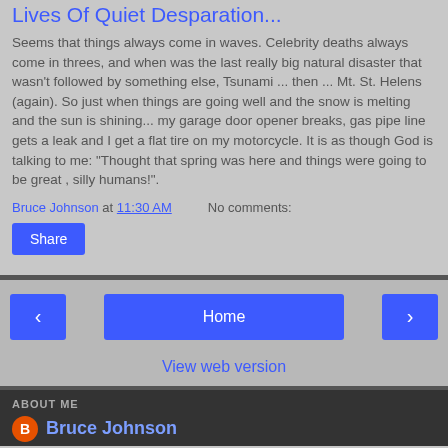Lives Of Quiet Desparation...
Seems that things always come in waves. Celebrity deaths always come in threes, and when was the last really big natural disaster that wasn't followed by something else, Tsunami ... then ... Mt. St. Helens (again). So just when things are going well and the snow is melting and the sun is shining... my garage door opener breaks, gas pipe line gets a leak and I get a flat tire on my motorcycle. It is as though God is talking to me: "Thought that spring was here and things were going to be great , silly humans!".
Bruce Johnson at 11:30 AM   No comments:
Share
Home
View web version
ABOUT ME
Bruce Johnson